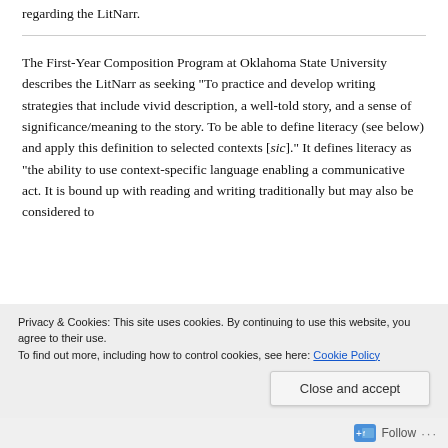regarding the LitNarr.
The First-Year Composition Program at Oklahoma State University describes the LitNarr as seeking “To practice and develop writing strategies that include vivid description, a well-told story, and a sense of significance/meaning to the story. To be able to define literacy (see below) and apply this definition to selected contexts [sic].” It defines literacy as “the ability to use context-specific language enabling a communicative act. It is bound up with reading and writing traditionally but may also be considered to
Privacy & Cookies: This site uses cookies. By continuing to use this website, you agree to their use.
To find out more, including how to control cookies, see here: Cookie Policy
Close and accept